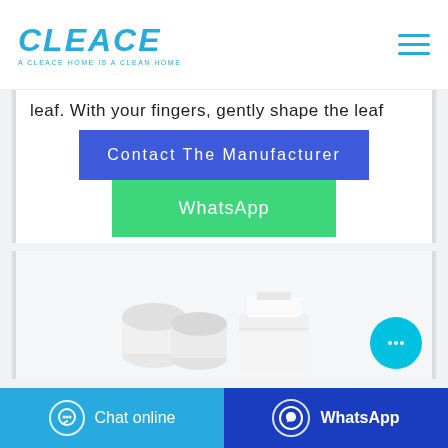[Figure (logo): CLEACE logo in blue italic bold text with tagline 'A CLEACE HOME IS A CLEAN HOME' below]
leaf. With your fingers, gently shape the leaf
Contact The Manufacturer
WhatsApp
[Figure (photo): Product photo showing toilet paper rolls and tissue box in white packaging on light grey background]
Chat online
WhatsApp